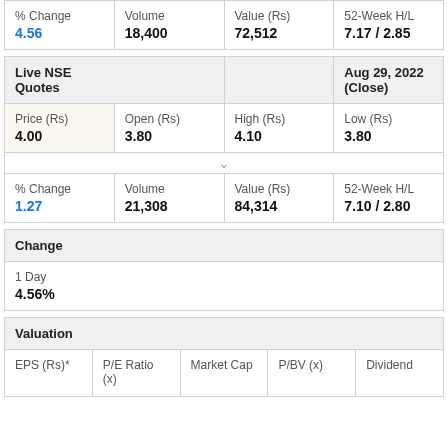| % Change | Volume | Value (Rs) | 52-Week H/L |
| --- | --- | --- | --- |
| 4.56 | 18,400 | 72,512 | 7.17 / 2.85 |
| Live NSE Quotes |  |  | Aug 29, 2022 (Close) |
| --- | --- | --- | --- |
| Price (Rs)
4.00 | Open (Rs)
3.80 | High (Rs)
4.10 | Low (Rs)
3.80 |
| % Change
1.27 | Volume
21,308 | Value (Rs)
84,314 | 52-Week H/L
7.10 / 2.80 |
| Change |
| --- |
| 1 Day
4.56% |
| Valuation |  |  |  |  |
| --- | --- | --- | --- | --- |
| EPS (Rs)* | P/E Ratio (x) | Market Cap | P/BV (x) | Dividend |